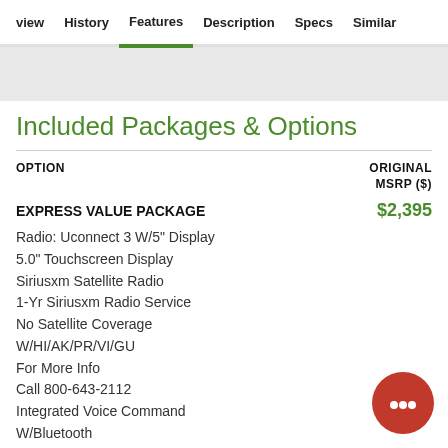view  History  Features  Description  Specs  Similar
Included Packages & Options
| OPTION | ORIGINAL MSRP ($) |
| --- | --- |
| EXPRESS VALUE PACKAGE | $2,395 |
| Radio: Uconnect 3 W/5" Display |  |
| 5.0" Touchscreen Display |  |
| Siriusxm Satellite Radio |  |
| 1-Yr Siriusxm Radio Service |  |
| No Satellite Coverage |  |
| W/HI/AK/PR/VI/GU |  |
| For More Info |  |
| Call 800-643-2112 |  |
| Integrated Voice Command |  |
| W/Bluetooth |  |